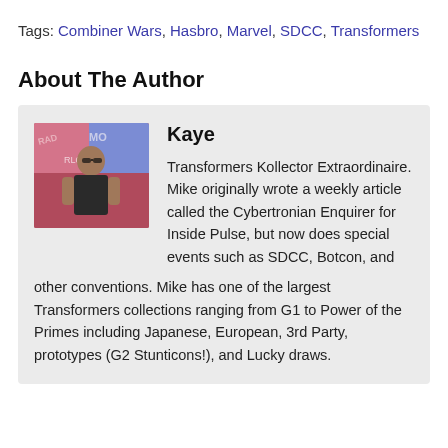Tags: Combiner Wars, Hasbro, Marvel, SDCC, Transformers
About The Author
[Figure (photo): Author photo of Kaye, a person standing in front of a colorful mural background]
Kaye
Transformers Kollector Extraordinaire. Mike originally wrote a weekly article called the Cybertronian Enquirer for Inside Pulse, but now does special events such as SDCC, Botcon, and other conventions. Mike has one of the largest Transformers collections ranging from G1 to Power of the Primes including Japanese, European, 3rd Party, prototypes (G2 Stunticons!), and Lucky draws.